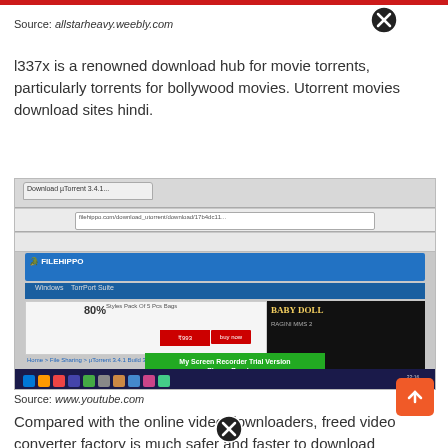Source: allstarheavy.weebly.com
l337x is a renowned download hub for movie torrents, particularly torrents for bollywood movies. Utorrent movies download sites hindi.
[Figure (screenshot): Screenshot of a web browser showing the FileHippo download website with advertisements including a Deal Guru ad and a Baby Doll movie ad, with a screen recorder overlay message and download progress bar.]
Source: www.youtube.com
Compared with the online video downloaders, free video converter factory is much safer and faster to download hollywood movies in hindi. Utorrent free download movie in hindi dubbed l337x of...